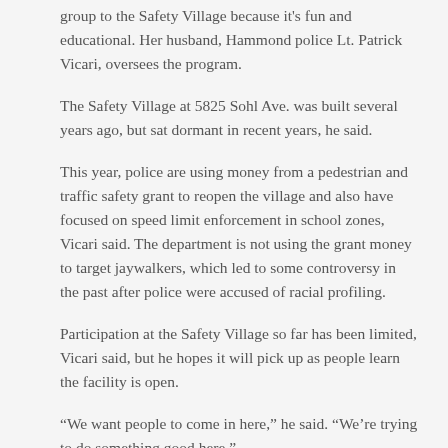group to the Safety Village because it's fun and educational. Her husband, Hammond police Lt. Patrick Vicari, oversees the program.
The Safety Village at 5825 Sohl Ave. was built several years ago, but sat dormant in recent years, he said.
This year, police are using money from a pedestrian and traffic safety grant to reopen the village and also have focused on speed limit enforcement in school zones, Vicari said. The department is not using the grant money to target jaywalkers, which led to some controversy in the past after police were accused of racial profiling.
Participation at the Safety Village so far has been limited, Vicari said, but he hopes it will pick up as people learn the facility is open.
“We want people to come in here,” he said. “We’re trying to do something good here.”